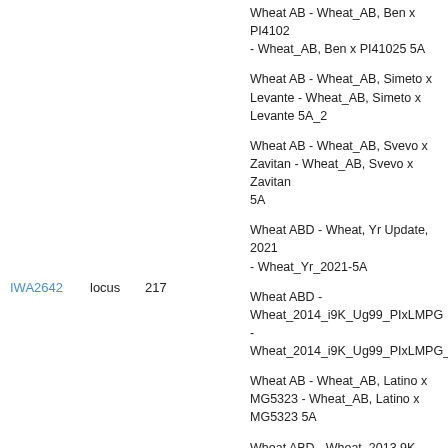Wheat AB - Wheat_AB, Ben x PI41025 - Wheat_AB, Ben x PI41025 5A
IWA2642   locus   217
Wheat AB - Wheat_AB, Simeto x Levante - Wheat_AB, Simeto x Levante 5A_2
Wheat AB - Wheat_AB, Svevo x Zavitan - Wheat_AB, Svevo x Zavitan 5A
Wheat ABD - Wheat, Yr Update, 2021 - Wheat_Yr_2021-5A
Wheat ABD - Wheat_2014_i9K_Ug99_PIxLMPG - Wheat_2014_i9K_Ug99_PIxLMPG_5A
Wheat AB - Wheat_AB, Latino x MG5323 - Wheat_AB, Latino x MG5323 5A
Wheat ABD - Wheat, 2013 9K Consensus - Wheat, 2013 9K Consensus 5A
Wheat ABD - Wheat, 2013 9K Consensus - Wheat, 2013 9K Consensus 5A